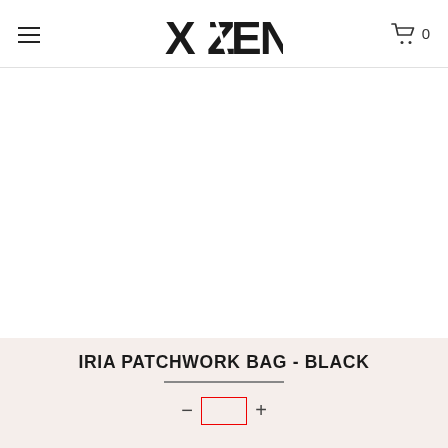XZENDA — navigation header with hamburger menu and cart (0 items)
[Figure (photo): White/blank product image area for IRIA Patchwork Bag - Black]
IRIA PATCHWORK BAG - BLACK